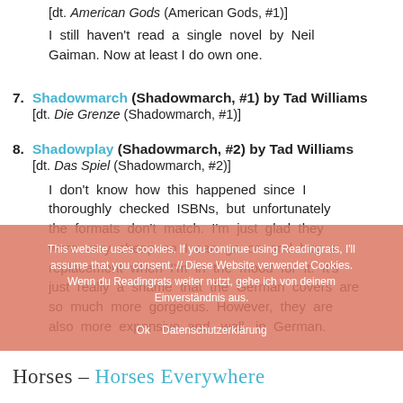[dt. American Gods (American Gods, #1)]
I still haven't read a single novel by Neil Gaiman. Now at least I do own one.
7. Shadowmarch (Shadowmarch, #1) by Tad Williams [dt. Die Grenze (Shadowmarch, #1)]
8. Shadowplay (Shadowmarch, #2) by Tad Williams [dt. Das Spiel (Shadowmarch, #2)]
I don't know how this happened since I thoroughly checked ISBNs, but unfortunately the formats don't match. I'm just glad they were very cheap so I can go on and buy a replacement when I'm in the mood for it. It's just really a shame that the German covers are so much more gorgeous. However, they are also more expensive and, well, in German.
This website uses cookies. If you continue using Readingrats, I'll assume that you consent. // Diese Website verwendet Cookies. Wenn du Readingrats weiter nutzt, gehe ich von deinem Einverständnis aus.
Horses – Horses Everywhere